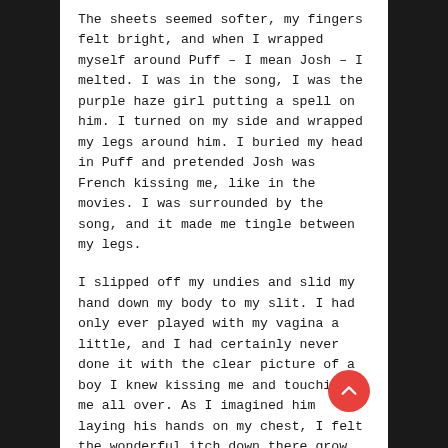The sheets seemed softer, my fingers felt bright, and when I wrapped myself around Puff – I mean Josh – I melted. I was in the song, I was the purple haze girl putting a spell on him. I turned on my side and wrapped my legs around him. I buried my head in Puff and pretended Josh was French kissing me, like in the movies. I was surrounded by the song, and it made me tingle between my legs.
I slipped off my undies and slid my hand down my body to my slit. I had only ever played with my vagina a little, and I had certainly never done it with the clear picture of a boy I knew kissing me and touching me all over. As I imagined him laying his hands on my chest, I felt the wonderful itch down there grow. My finger found my clit, I brought a hand to my leg and ran my fingers up and down before grabbing my butt.
The silly feeling instantly traveled from my button back to my butt crack, around my cheeks and up my spine. And every part of my body felt like I was touching it for